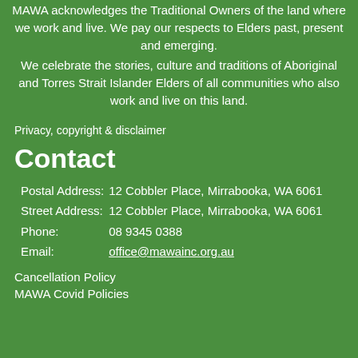MAWA acknowledges the Traditional Owners of the land where we work and live. We pay our respects to Elders past, present and emerging.
We celebrate the stories, culture and traditions of Aboriginal and Torres Strait Islander Elders of all communities who also work and live on this land.
Privacy, copyright & disclaimer
Contact
Postal Address: 12 Cobbler Place, Mirrabooka, WA 6061
Street Address: 12 Cobbler Place, Mirrabooka, WA 6061
Phone: 08 9345 0388
Email: office@mawainc.org.au
Cancellation Policy
MAWA Covid Policies